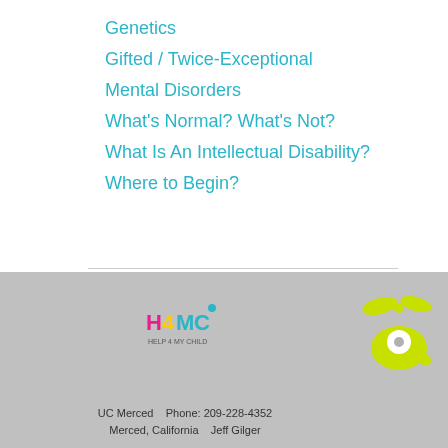Genetics
Gifted / Twice-Exceptional
Mental Disorders
What's Normal? What's Not?
What Is An Intellectual Disability?
Where to Begin?
[Figure (logo): H4MC Help 4 My Child logo]
[Figure (logo): Yellow-green fish/helicopter mascot logo]
UC Merced   Phone: 209-228-4352
Merced, California   Jeff Gilger